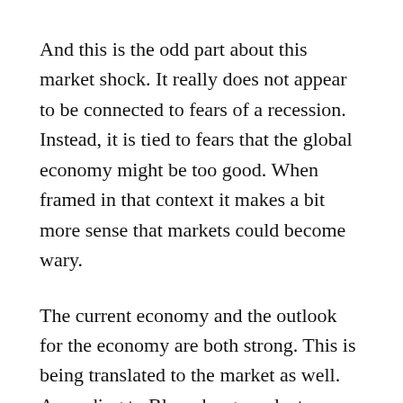And this is the odd part about this market shock. It really does not appear to be connected to fears of a recession. Instead, it is tied to fears that the global economy might be too good. When framed in that context it makes a bit more sense that markets could become wary.
The current economy and the outlook for the economy are both strong. This is being translated to the market as well. According to Bloomberg, analysts are expecting S&P earnings to be approximately $155 for 2018—more than a 25 percent leap from 2017. Much of that is due to